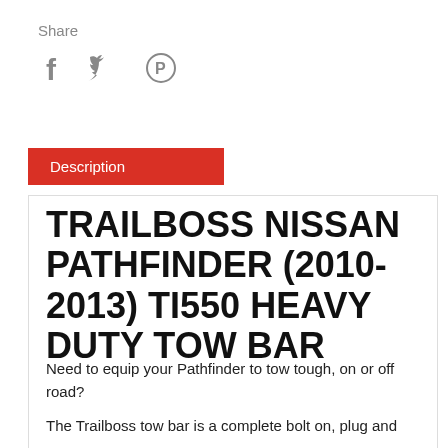Share
[Figure (other): Social media share icons: Facebook (f), Twitter (bird), Pinterest (P)]
Description
TRAILBOSS NISSAN PATHFINDER (2010-2013) TI550 HEAVY DUTY TOW BAR
Need to equip your Pathfinder to tow tough, on or off road?
The Trailboss tow bar is a complete bolt on, plug and